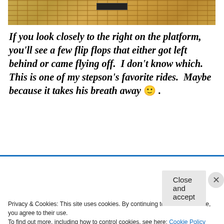[Figure (photo): Top portion of a roller coaster or amusement park ride platform with grid/lattice structure, golden/brown metal framework visible]
If you look closely to the right on the platform, you'll see a few flip flops that either got left behind or came flying off.  I don't know which.  This is one of my stepson's favorite rides.  Maybe because it takes his breath away 🙂 .
[Figure (other): Advertisement for P2 - Getting your team on the same page is easy. And free.]
Privacy & Cookies: This site uses cookies. By continuing to use this website, you agree to their use.
To find out more, including how to control cookies, see here: Cookie Policy